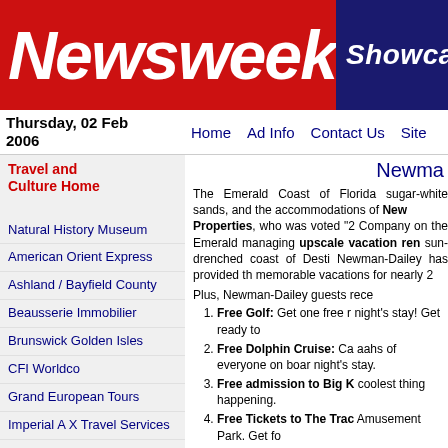[Figure (logo): Newsweek logo in red banner with white italic bold text]
[Figure (logo): Showcase.com logo in dark navy blue box with italic white text]
Thursday, 02 Feb 2006
Home   Ad Info   Contact Us   Site
Travel and Culture Home
Natural History Museum
American Orient Express
Ashland / Bayfield County
Beausserie Immobilier
Brunswick Golden Isles
CFI Worldco
Grand European Tours
Imperial A X Travel Services
International Mortgage Plans
Intrepid Travel Adventures
Breathtaking Norway
American West Steamboat
Telestial Wireless
Newma
The Emerald Coast of Florida sugar-white sands, and the accommodations of Newman-Dailey Properties, who was voted "2 Company on the Emerald managing upscale vacation ren sun-drenched coast of Desti Newman-Dailey has provided th memorable vacations for nearly 2
Plus, Newman-Dailey guests rece
Free Golf: Get one free r night's stay! Get ready to
Free Dolphin Cruise: Ca aahs of everyone on boar night's stay.
Free admission to Big K coolest thing happening.
Free Tickets to The Trac Amusement Park. Get fo